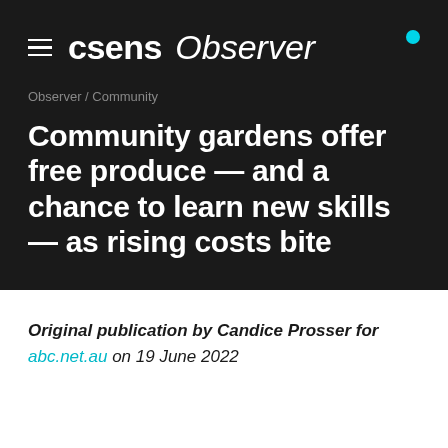csens Observer
Observer / Community
Community gardens offer free produce — and a chance to learn new skills — as rising costs bite
Original publication by Candice Prosser for abc.net.au on 19 June 2022